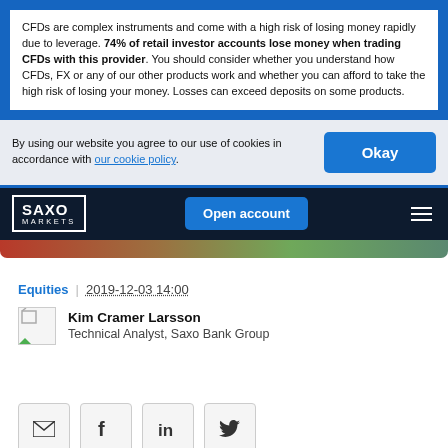CFDs are complex instruments and come with a high risk of losing money rapidly due to leverage. 74% of retail investor accounts lose money when trading CFDs with this provider. You should consider whether you understand how CFDs, FX or any of our other products work and whether you can afford to take the high risk of losing your money. Losses can exceed deposits on some products.
By using our website you agree to our use of cookies in accordance with our cookie policy.
[Figure (logo): Saxo Markets logo - white text on dark navy border]
Open account
Equities | 2019-12-03 14:00
[Figure (photo): Small broken image placeholder icon]
Kim Cramer Larsson
Technical Analyst, Saxo Bank Group
[Figure (infographic): Social media icon buttons: email, Facebook, LinkedIn, Twitter]